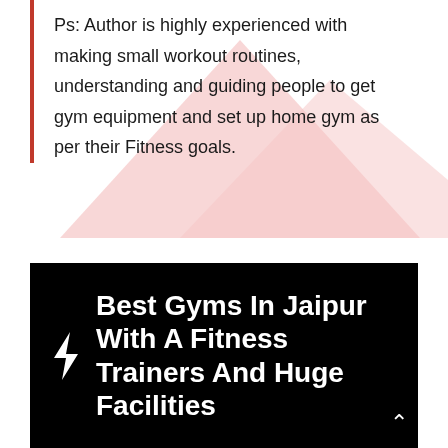Ps: Author is highly experienced with making small workout routines, understanding and guiding people to get gym equipment and set up home gym as per their Fitness goals.
Best Gyms In Jaipur With A Fitness Trainers And Huge Facilities